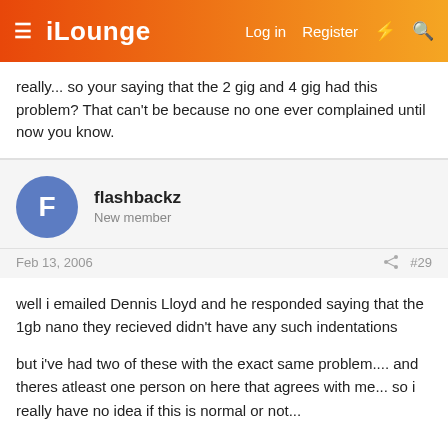iLounge  Log in  Register
really... so your saying that the 2 gig and 4 gig had this problem? That can't be because no one ever complained until now you know.
flashbackz
New member
Feb 13, 2006  #29
well i emailed Dennis Lloyd and he responded saying that the 1gb nano they recieved didn't have any such indentations

but i've had two of these with the exact same problem.... and theres atleast one person on here that agrees with me... so i really have no idea if this is normal or not...